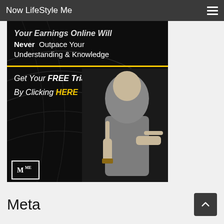Now LifeStyle Me
[Figure (photo): Promotional banner with dark background showing a man in gray sweater pointing toward text. Text reads: Your Earnings Online Will Never Outpace Your Understanding & Knowledge. Get Your FREE Trial By Clicking HERE. MME logo in bottom left corner. Yellow horizontal divider line separating top and bottom text sections.]
Meta